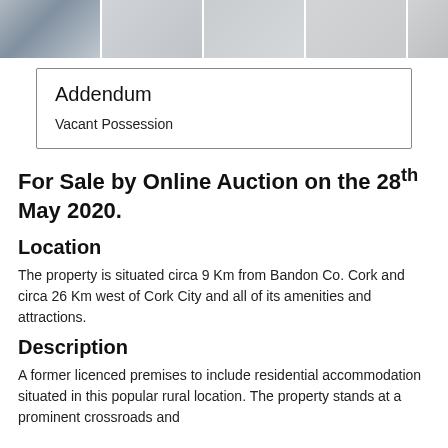[Figure (photo): Strip of property photos showing exterior views, partially visible at top of page]
| Addendum |  |
| Vacant Possession |  |
For Sale by Online Auction on the 28th May 2020.
Location
The property is situated circa 9 Km from Bandon Co. Cork and circa 26 Km west of Cork City and all of its amenities and attractions.
Description
A former licenced premises to include residential accommodation situated in this popular rural location. The property stands at a prominent crossroads and